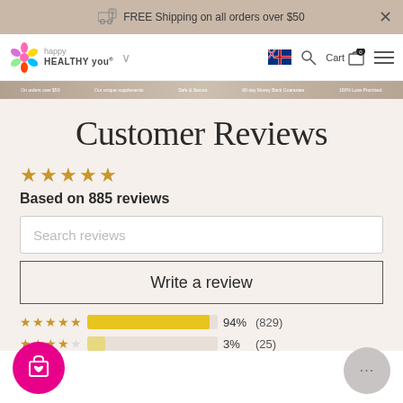FREE Shipping on all orders over $50
[Figure (screenshot): Happy Healthy You logo with navigation bar including Australian flag, search, cart with 0 items, and hamburger menu]
[Figure (infographic): Trust bar with: On orders over $50, Our unique supplements, Safe & Secure, 60-day Money Back Guarantee, 100% Love Promised]
Customer Reviews
Based on 885 reviews
Search reviews
Write a review
94% (829)
3% (25)